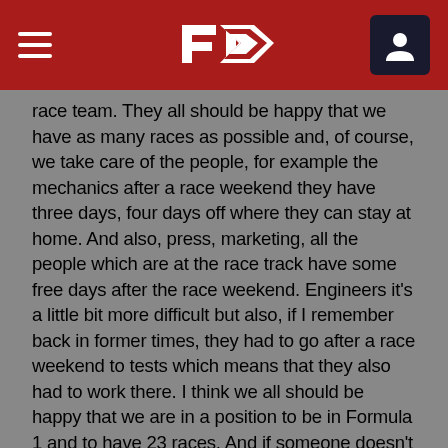F1 Header Navigation
race team. They all should be happy that we have as many races as possible and, of course, we take care of the people, for example the mechanics after a race weekend they have three days, four days off where they can stay at home. And also, press, marketing, all the people which are at the race track have some free days after the race weekend. Engineers it's a little bit more difficult but also, if I remember back in former times, they had to go after a race weekend to tests which means that they also had to work there. I think we all should be happy that we are in a position to be in Formula 1 and to have 23 races. And if someone doesn't like it, then he should go.
LM: Yeah 23 races is, I think, going to be a great calendar. To answer your questions, yes, we are building season after season a programme for the race team, you know, to stay in the best condition possible and yes...